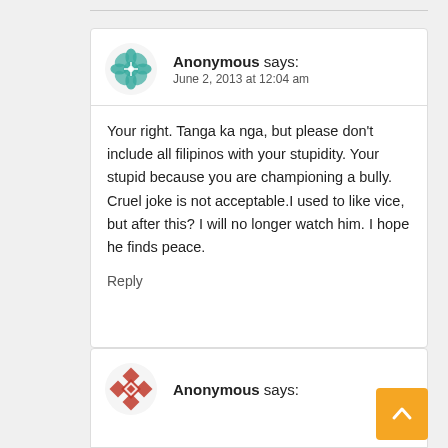[Figure (illustration): Teal decorative avatar icon with geometric snowflake/mandala pattern for first Anonymous commenter]
Anonymous says:
June 2, 2013 at 12:04 am
Your right. Tanga ka nga, but please don't include all filipinos with your stupidity. Your stupid because you are championing a bully. Cruel joke is not acceptable.I used to like vice, but after this? I will no longer watch him. I hope he finds peace.
Reply
[Figure (illustration): Red/orange decorative avatar icon with geometric pattern for second Anonymous commenter]
Anonymous says: